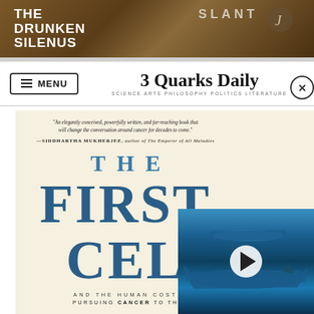[Figure (photo): Banner image at top of page showing book covers including 'The Drunken Silenus' and 'Slant' text visible against a brown/wood background]
3 Quarks Daily — SCIENCE ARTS PHILOSOPHY POLITICS LITERATURE
[Figure (photo): Book cover of 'The First Cell' by Azra Raza. Cream/off-white background with large blue title text. Blurb from Siddhartha Mukherjee: 'An elegantly conceived, powerfully written, and far-reaching book that will change the conversation around cancer for decades to come.' Subtitle text: 'AND THE HUMAN COST OF PURSUING CANCER TO THE LAST CELL']
[Figure (screenshot): Video overlay in bottom right showing sharks swimming in blue ocean water with a play button and close (X) button]